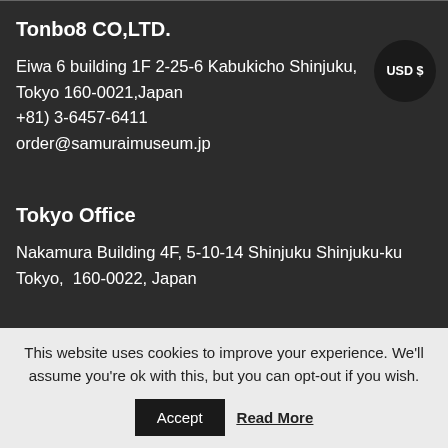Tonbo8 CO,LTD.
Eiwa 6 building 1F 2-25-6 Kabukicho Shinjuku, Tokyo 160-0021,Japan
+81) 3-6457-6411
order@samuraimuseum.jp
Tokyo Office
Nakamura Building 4F, 5-10-14 Shinjuku Shinjuku-ku Tokyo,  160-0022, Japan
Kanazawa Branch-1 (Dolls Museum)
2-24-1 Nomachi, Kanazawa-shi, Ishikawa, 921-8031,
This website uses cookies to improve your experience. We'll assume you're ok with this, but you can opt-out if you wish.
Accept   Read More